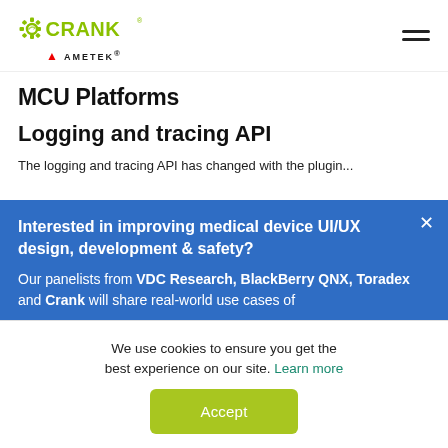CRANK | AMETEK
MCU Platforms
Logging and tracing API
The logging and tracing API has changed with the plugin...
Interested in improving medical device UI/UX design, development & safety?
Our panelists from VDC Research, BlackBerry QNX, Toradex and Crank will share real-world use cases of
We use cookies to ensure you get the best experience on our site. Learn more
Accept